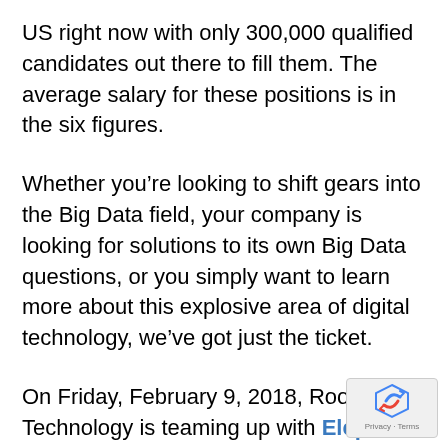US right now with only 300,000 qualified candidates out there to fill them. The average salary for these positions is in the six figures.
Whether you’re looking to shift gears into the Big Data field, your company is looking for solutions to its own Big Data questions, or you simply want to learn more about this explosive area of digital technology, we’ve got just the ticket.
On Friday, February 9, 2018, Root Level Technology is teaming up with Elephant Scale for a Big Data Career Workshop.
The event runs from 10 a.m. – 2 p.m. at the Data Foundry, Houston 2 location. The address is 660